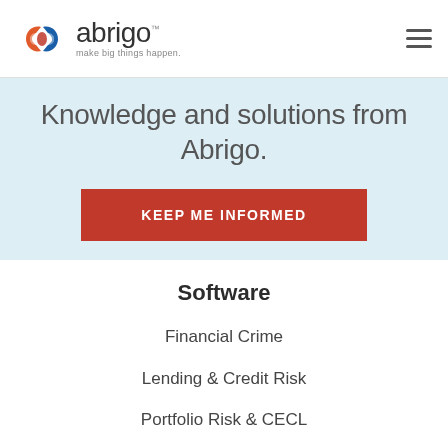[Figure (logo): Abrigo logo with orange and blue hexagon icon, company name 'abrigo' and tagline 'make big things happen.']
Knowledge and solutions from Abrigo.
KEEP ME INFORMED
Software
Financial Crime
Lending & Credit Risk
Portfolio Risk & CECL
Data & Analytics
Partners & Integrations